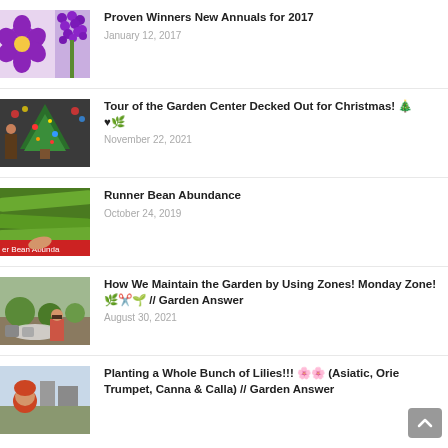Proven Winners New Annuals for 2017 — January 12, 2017
Tour of the Garden Center Decked Out for Christmas! 🎄♥🌿 — November 22, 2021
Runner Bean Abundance — October 24, 2019
How We Maintain the Garden by Using Zones! Monday Zone! 🌿✂️🌱 // Garden Answer — August 30, 2021
Planting a Whole Bunch of Lilies!!! 🌸🌸 (Asiatic, Oriental, Trumpet, Canna & Calla) // Garden Answer